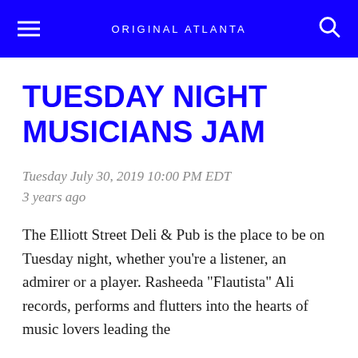ORIGINAL ATLANTA
TUESDAY NIGHT MUSICIANS JAM
Tuesday July 30, 2019 10:00 PM EDT
3 years ago
The Elliott Street Deli & Pub is the place to be on Tuesday night, whether you're a listener, an admirer or a player. Rasheeda "Flautista" Ali records, performs and flutters into the hearts of music lovers leading the